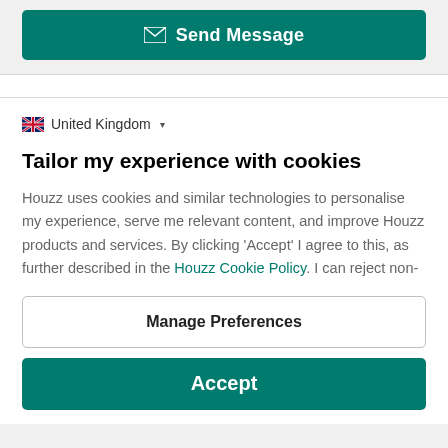[Figure (screenshot): Green 'Send Message' button with mail icon on grey background]
🇬🇧 United Kingdom ▾
Tailor my experience with cookies
Houzz uses cookies and similar technologies to personalise my experience, serve me relevant content, and improve Houzz products and services. By clicking 'Accept' I agree to this, as further described in the Houzz Cookie Policy. I can reject non-
Manage Preferences
Accept